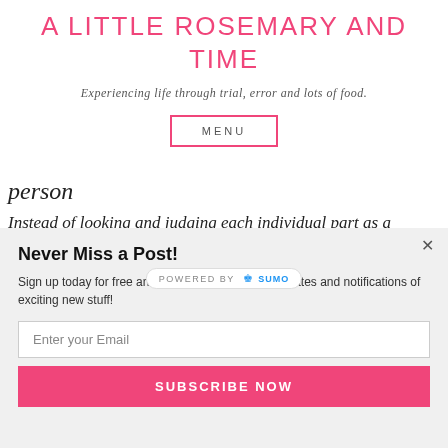A LITTLE ROSEMARY AND TIME
Experiencing life through trial, error and lots of food.
MENU
person
Instead of looking and judging each individual part as a positive or a negative feature, look at yourself as a whole person and relish in how amazing you
POWERED BY SUMO
Never Miss a Post!
Sign up today for free and be the first to receive updates and notifications of exciting new stuff!
Enter your Email
SUBSCRIBE NOW